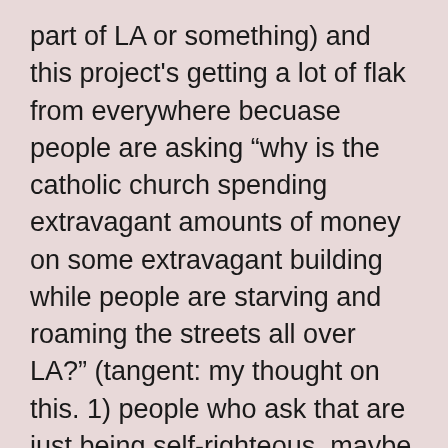part of LA or something) and this project's getting a lot of flak from everywhere becuase people are asking “why is the catholic church spending extravagant amounts of money on some extravagant building while people are starving and roaming the streets all over LA?” (tangent: my thought on this. 1) people who ask that are just being self-righteous. maybe they feel guilty because last week they bought a new toaster that has four slots and two bagel settings, when they know that they could have given that money to a homeless person who asked them for change. or something. no, i do